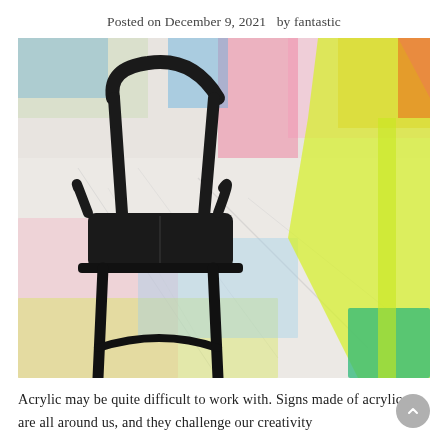Posted on December 9, 2021   by fantastic
[Figure (photo): Close-up photo of a black modern chair with a marble-patterned floor overlaid with colorful translucent acrylic panels in pink, yellow, green, blue, and orange tones.]
Acrylic may be quite difficult to work with. Signs made of acrylic are all around us, and they challenge our creativity